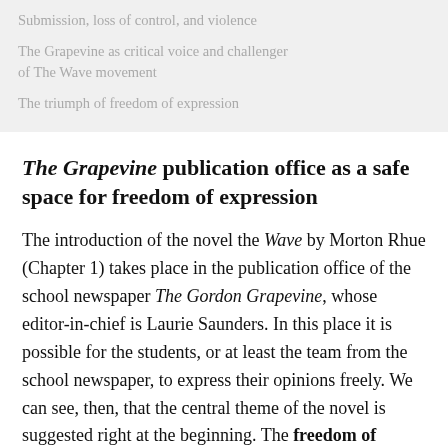Submission, loss of control, and violence
The Grapevine as critical voice and challenger of The Wave movement
The triumph of freedom of expression
The Grapevine publication office as a safe space for freedom of expression
The introduction of the novel the Wave by Morton Rhue (Chapter 1) takes place in the publication office of the school newspaper The Gordon Grapevine, whose editor-in-chief is Laurie Saunders. In this place it is possible for the students, or at least the team from the school newspaper, to express their opinions freely. We can see, then, that the central theme of the novel is suggested right at the beginning. The freedom of expression